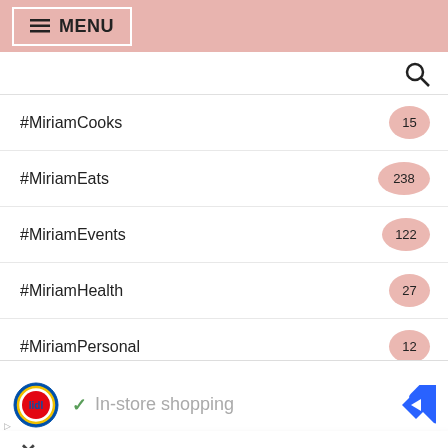≡ MENU
#MiriamCooks 15
#MiriamEats 238
#MiriamEvents 122
#MiriamHealth 27
#MiriamPersonal 12
#MiriamReviews 166
[Figure (screenshot): Advertisement for Lidl showing logo, checkmark, and 'In-store shopping' text with navigation icon]